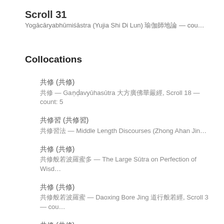Scroll 31
Yogācāryabhūmiśāstra (Yujia Shi Di Lun) 瑜伽師地論 — cou…
Collocations
共修 (共修)
共修 — Gaṇḍavyūhasūtra 大方廣佛華嚴經, Scroll 18 — count: 5
共修習 (共修習)
共修習法 — Middle Length Discourses (Zhong Ahan Jin…
共修 (共修)
共修般若波羅蜜 — The Large Sūtra on Perfection of Wisd…
共修 (共修)
共修般若波羅蜜 — Daoxing Bore Jing 道行般若經, Scroll 3 — cou…
共修 (共修)
共修般若 — Mahāparinirvāṇasūtra (Mahaparinirvana S…